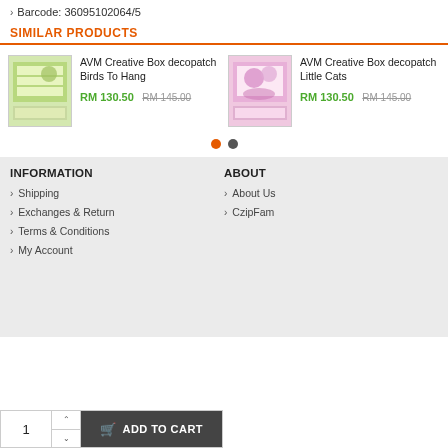Barcode: 36095102064/5
SIMILAR PRODUCTS
AVM Creative Box decopatch Birds To Hang
RM 130.50  RM 145.00
AVM Creative Box decopatch Little Cats
RM 130.50  RM 145.00
INFORMATION
ABOUT
Shipping
Exchanges & Return
Terms & Conditions
My Account
About Us
CzipFam
1  ADD TO CART